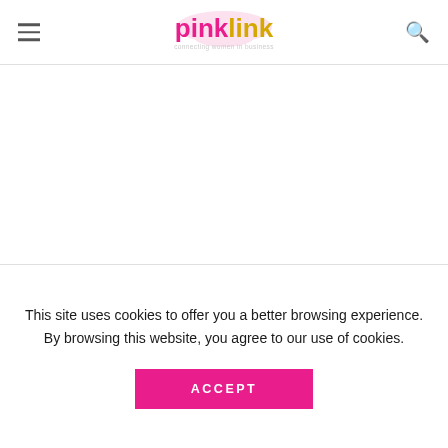pinklink — connecting women in business
This site uses cookies to offer you a better browsing experience. By browsing this website, you agree to our use of cookies.
ACCEPT